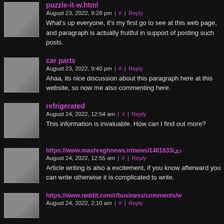puzzle-it-w.html — August 23, 2022, 9:28 pm | # | Reply
What's up everyone, it's my first go to see at this web page, and paragraph is actually fruitful in support of posting such posts.
car parts — August 23, 2022, 9:40 pm | # | Reply
Ahaa, its nice discussion about this paragraph here at this website, so now me also commenting here.
refrigerated — August 24, 2022, 12:54 am | # | Reply
This information is invaluable. How can I find out more?
https://www.mashreghnews.ir/news/1401833/دی — August 24, 2022, 12:55 am | # | Reply
Article writing is also a excitement, if you know afterward you can write otherwise it is complicated to write.
https://www.reddit.com/r/business/comments/w — August 24, 2022, 2:10 am | # | Reply